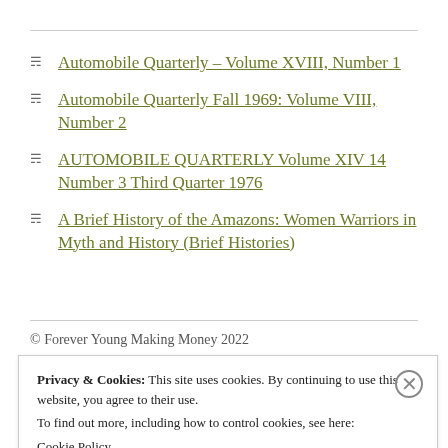Automobile Quarterly – Volume XVIII, Number 1
Automobile Quarterly Fall 1969: Volume VIII, Number 2
AUTOMOBILE QUARTERLY Volume XIV 14 Number 3 Third Quarter 1976
A Brief History of the Amazons: Women Warriors in Myth and History (Brief Histories)
© Forever Young Making Money 2022
Privacy & Cookies: This site uses cookies. By continuing to use this website, you agree to their use.
To find out more, including how to control cookies, see here:
Cookie Policy
Close and accept